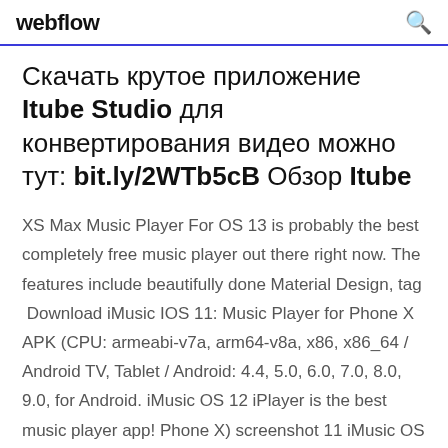webflow
Скачать крутое приложение Itube Studio для конвертирования видео можно тут: bit.ly/2WTb5cB Обзор Itube
XS Max Music Player For OS 13 is probably the best completely free music player out there right now. The features include beautifully done Material Design, tag  Download iMusic IOS 11: Music Player for Phone X APK (CPU: armeabi-v7a, arm64-v8a, x86, x86_64 / Android TV, Tablet / Android: 4.4, 5.0, 6.0, 7.0, 8.0, 9.0, for Android. iMusic OS 12 iPlayer is the best music player app! Phone X) screenshot 11 iMusic OS 12 - iPlayer (i Phone X) Boost iMusic